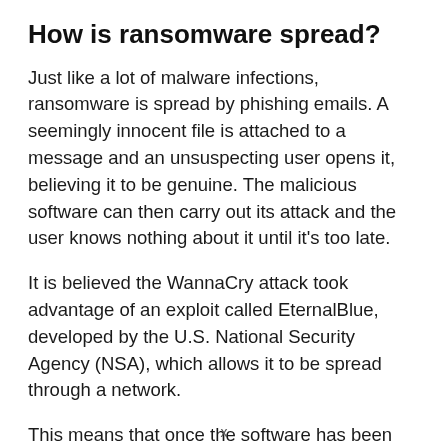How is ransomware spread?
Just like a lot of malware infections, ransomware is spread by phishing emails. A seemingly innocent file is attached to a message and an unsuspecting user opens it, believing it to be genuine. The malicious software can then carry out its attack and the user knows nothing about it until it's too late.
It is believed the WannaCry attack took advantage of an exploit called EternalBlue, developed by the U.S. National Security Agency (NSA), which allows it to be spread through a network.
This means that once the software has been